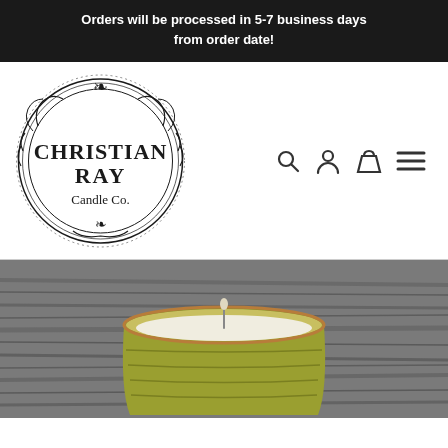Orders will be processed in 5-7 business days from order date!
[Figure (logo): Christian Ray Candle Co. circular ornate logo with decorative border]
[Figure (photo): Photo of a candle in a green/yellow ceramic cup on a wooden surface]